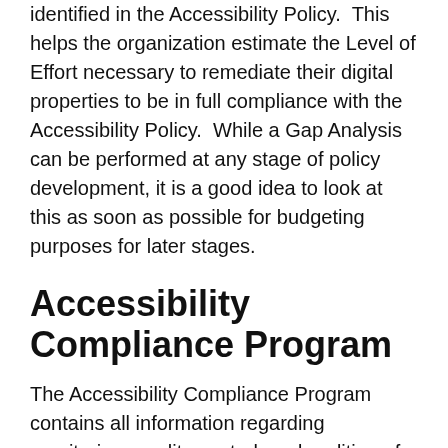identified in the Accessibility Policy.  This helps the organization estimate the Level of Effort necessary to remediate their digital properties to be in full compliance with the Accessibility Policy.  While a Gap Analysis can be performed at any stage of policy development, it is a good idea to look at this as soon as possible for budgeting purposes for later stages.
Accessibility Compliance Program
The Accessibility Compliance Program contains all information regarding monitoring, quality control, and auditing of Accessibility Policy implementation.  The content of this document can vary widely depending on whether the